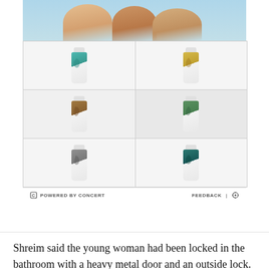[Figure (photo): Advertisement block showing sunscreen/lotion tubes. Top section shows hands holding products near water. Below is a 2x3 grid of six product tubes with different colored botanical designs (teal, yellow, brown, green, silver, dark teal). Bottom bar shows 'POWERED BY CONCERT' on left and 'FEEDBACK | gear icon' on right.]
Shreim said the young woman had been locked in the bathroom with a heavy metal door and an outside lock. She told the social worker that her father beat her with